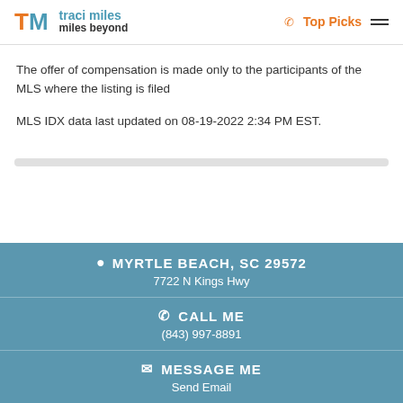traci miles miles beyond | Top Picks
The offer of compensation is made only to the participants of the MLS where the listing is filed
MLS IDX data last updated on 08-19-2022 2:34 PM EST.
MYRTLE BEACH, SC 29572 | 7722 N Kings Hwy | CALL ME | (843) 997-8891 | MESSAGE ME | Send Email